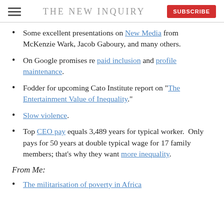THE NEW INQUIRY | SUBSCRIBE
Some excellent presentations on New Media from McKenzie Wark, Jacob Gaboury, and many others.
On Google promises re paid inclusion and profile maintenance.
Fodder for upcoming Cato Institute report on "The Entertainment Value of Inequality."
Slow violence.
Top CEO pay equals 3,489 years for typical worker. Only pays for 50 years at double typical wage for 17 family members; that's why they want more inequality.
From Me:
The militarisation of poverty in Africa